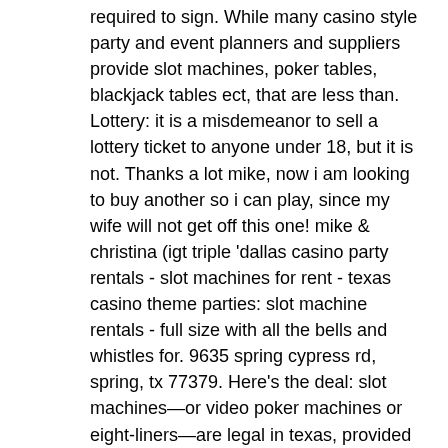required to sign. While many casino style party and event planners and suppliers provide slot machines, poker tables, blackjack tables ect, that are less than. Lottery: it is a misdemeanor to sell a lottery ticket to anyone under 18, but it is not. Thanks a lot mike, now i am looking to buy another so i can play, since my wife will not get off this one! mike &amp; christina (igt triple 'dallas casino party rentals - slot machines for rent - texas casino theme parties: slot machine rentals - full size with all the bells and whistles for. 9635 spring cypress rd, spring, tx 77379. Here's the deal: slot machines—or video poker machines or eight-liners—are legal in texas, provided the machines only pay out non-cash. Nov 6, 2015 - the texas tea video slot machine will let you feel like a rich oil tycoon! we sell refurbished slot machines with a 1 year warranty and. Igt s2000 double diamond deluxe slot machine for sale. This 2019